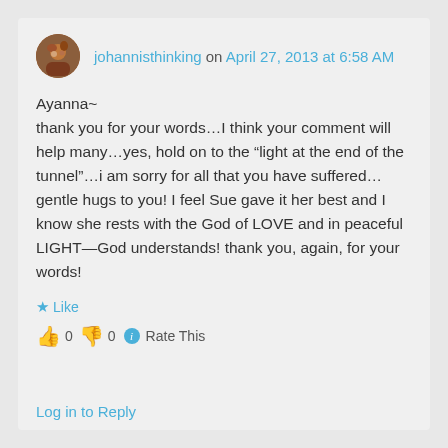johannisthinking on April 27, 2013 at 6:58 AM
Ayanna~
thank you for your words...I think your comment will help many...yes, hold on to the “light at the end of the tunnel”...i am sorry for all that you have suffered...gentle hugs to you! I feel Sue gave it her best and I know she rests with the God of LOVE and in peaceful LIGHT—God understands! thank you, again, for your words!
★ Like
👍 0 👎 0 ⓘ Rate This
Log in to Reply